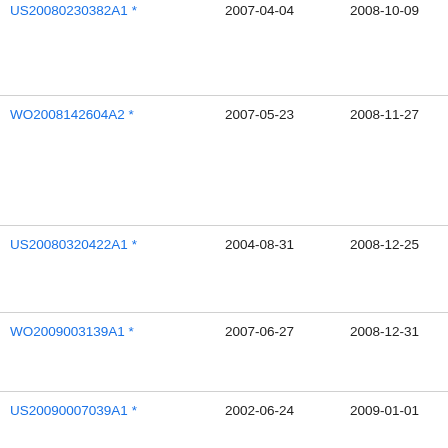| Publication | Filing Date | Publication Date | Assignee |
| --- | --- | --- | --- |
| US20080230382A1 * | 2007-04-04 | 2008-10-09 | Ma Ku |
| WO2008142604A2 * | 2007-05-23 | 2008-11-27 | Nxp |
| US20080320422A1 * | 2004-08-31 | 2008-12-25 | Fre Ser Inc |
| WO2009003139A1 * | 2007-06-27 | 2008-12-31 | Cac Sys |
| US20090007039A1 * | 2002-06-24 | 2009-01-01 | Kau |
| US??????????A1 * | 2007-??-?? | 2008-??-?? | Mi |